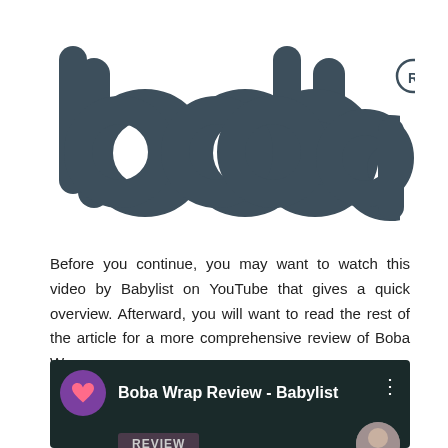[Figure (logo): Boba brand logo in dark gray/slate color — lowercase letters 'boba' with a registered trademark symbol]
Before you continue, you may want to watch this video by Babylist on YouTube that gives a quick overview. Afterward, you will want to read the rest of the article for a more comprehensive review of Boba Wrap.
[Figure (screenshot): YouTube video thumbnail showing 'Boba Wrap Review - Babylist' with Babylist purple logo icon on left, white title text, three-dot menu icon, and a REVIEW badge with partial person image on dark teal/green background]